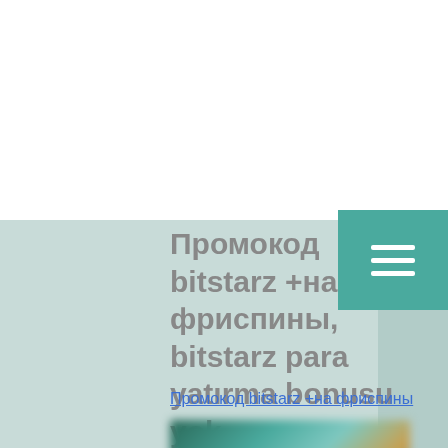[Figure (logo): IT'S ON école de surf logo with wave graphic]
Промокод bitstarz +на фриспины, bitstarz para yatırma bonusu yok
Промокод bitstarz +на фриспины
[Figure (photo): Blurred screenshot of a gaming or casino website]